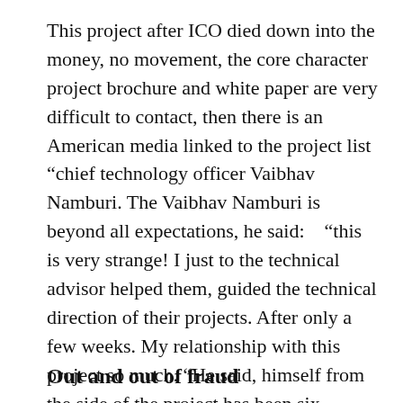This project after ICO died down into the money, no movement, the core character project brochure and white paper are very difficult to contact, then there is an American media linked to the project list “chief technology officer Vaibhav Namburi. The Vaibhav Namburi is beyond all expectations, he said: “this is very strange! I just to the technical advisor helped them, guided the technical direction of their projects. After only a few weeks. My relationship with this project so much. “He said, himself from the side of the project has been six months without contact.
Out and out of fraud